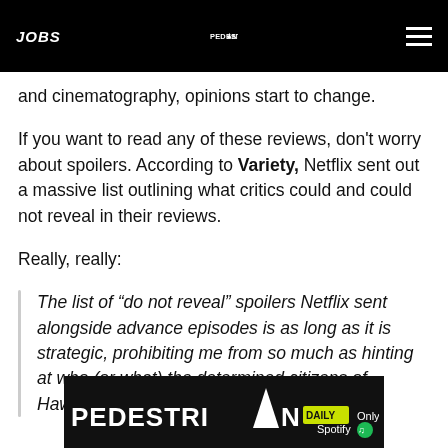JOBS | PEDESTRIAN | [menu]
and cinematography, opinions start to change.
If you want to read any of these reviews, don't worry about spoilers. According to Variety, Netflix sent out a massive list outlining what critics could and could not reveal in their reviews.
Really, really:
The list of “do not reveal” spoilers Netflix sent alongside advance episodes is as long as it is strategic, prohibiting me from so much as hinting at who (or what) the determined citizens of Hawkins, Ind.
[Figure (logo): Pedestrian Daily advertisement banner — PEDESTRIAN logo with DAILY badge, 'Only on Spotify' text with Spotify logo on black background]